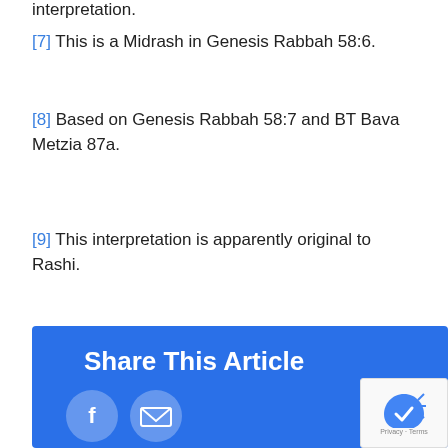interpretation.
[7] This is a Midrash in Genesis Rabbah 58:6.
[8] Based on Genesis Rabbah 58:7 and BT Bava Metzia 87a.
[9] This interpretation is apparently original to Rashi.
By Israel Drazin | December 20th, 2015 | Thoughts
Share This Article